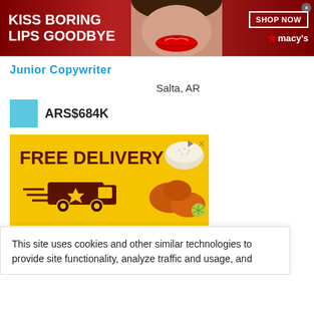[Figure (infographic): Top banner advertisement for Macy's: dark red background, text 'KISS BORING LIPS GOODBYE', woman's face with red lips in center, 'SHOP NOW' button and Macy's star logo on right, close X button]
Junior Copywriter
Salta, AR
ARS$684K
[Figure (infographic): Yellow advertisement banner with text 'FREE DELIVERY' in dark brown, delivery truck illustration, food images on right side (rice bowl, chicken), play and X controls in top right]
This site uses cookies and other similar technologies to provide site functionality, analyze traffic and usage, and